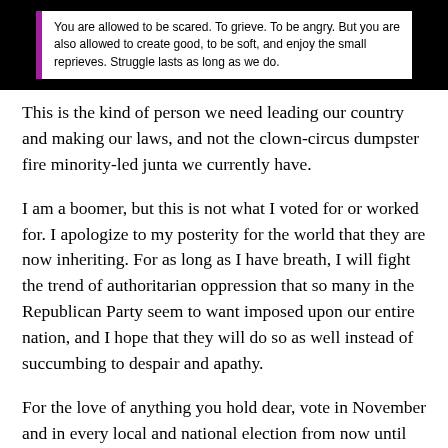[Figure (screenshot): Screenshot of a social media post with purple side bars and white text area containing quote: 'You are allowed to be scared. To grieve. To be angry. But you are also allowed to create good, to be soft, and enjoy the small reprieves. Struggle lasts as long as we do.']
This is the kind of person we need leading our country and making our laws, and not the clown-circus dumpster fire minority-led junta we currently have.
I am a boomer, but this is not what I voted for or worked for. I apologize to my posterity for the world that they are now inheriting. For as long as I have breath, I will fight the trend of authoritarian oppression that so many in the Republican Party seem to want imposed upon our entire nation, and I hope that they will do so as well instead of succumbing to despair and apathy.
For the love of anything you hold dear, vote in November and in every local and national election from now until the end of time. Vote for people who will work to build a world